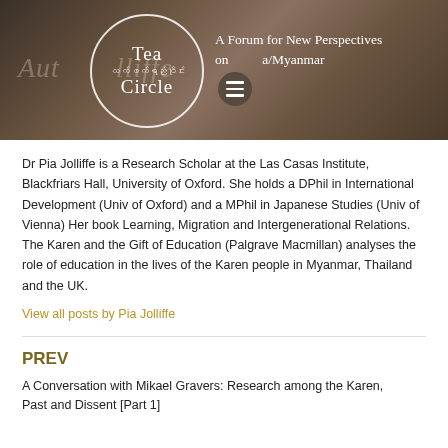[Figure (logo): Tea Circle logo — circular badge with 'Tea', Burmese text, 'Circle' inside a white circle ring, on a dark brown photographic background. Header tagline: 'A Forum for New Perspectives on Burma/Myanmar']
Dr Pia Jolliffe is a Research Scholar at the Las Casas Institute, Blackfriars Hall, University of Oxford. She holds a DPhil in International Development (Univ of Oxford) and a MPhil in Japanese Studies (Univ of Vienna) Her book Learning, Migration and Intergenerational Relations. The Karen and the Gift of Education (Palgrave Macmillan) analyses the role of education in the lives of the Karen people in Myanmar, Thailand and the UK.
View all posts by Pia Jolliffe
PREV
A Conversation with Mikael Gravers: Research among the Karen, Past and Dissent [Part 1]